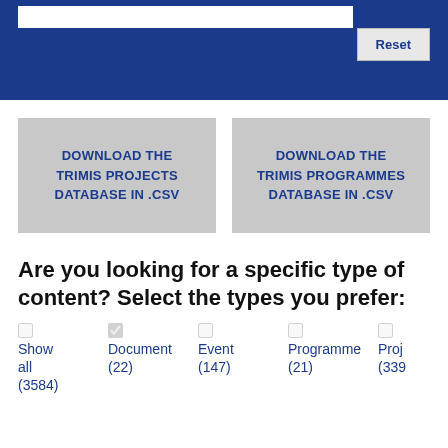[Figure (screenshot): Blue navigation bar with search input and Reset button]
DOWNLOAD THE TRIMIS PROJECTS DATABASE IN .CSV
DOWNLOAD THE TRIMIS PROGRAMMES DATABASE IN .CSV
Are you looking for a specific type of content? Select the types you prefer:
Show all (3584)
Document (22)
Event (147)
Programme (21)
Proj (339)